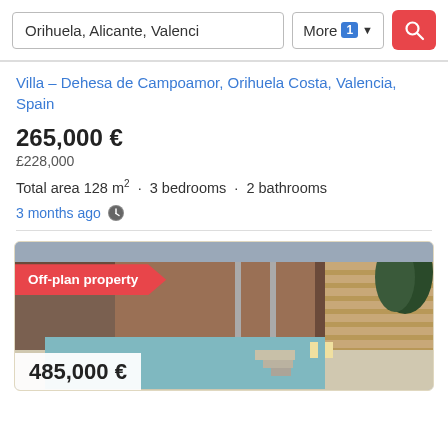Orihuela, Alicante, Valencia
More 1
Villa – Dehesa de Campoamor, Orihuela Costa, Valencia, Spain
265,000 €
£228,000
Total area 128 m² · 3 bedrooms · 2 bathrooms
3 months ago
[Figure (photo): Exterior rendering of a modern villa with a rectangular pool in the foreground, wooden fence and stone walls, with a red Off-plan property banner overlay]
485,000 €